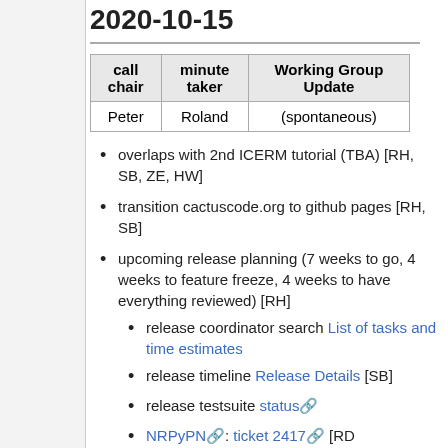2020-10-15
| call chair | minute taker | Working Group Update |
| --- | --- | --- |
| Peter | Roland | (spontaneous) |
overlaps with 2nd ICERM tutorial (TBA) [RH, SB, ZE, HW]
transition cactuscode.org to github pages [RH, SB]
upcoming release planning (7 weeks to go, 4 weeks to feature freeze, 4 weeks to have everything reviewed) [RH]
release coordinator search List of tasks and time estimates
release timeline Release Details [SB]
release testsuite status
NRPyPN; ticket 2417 [RD